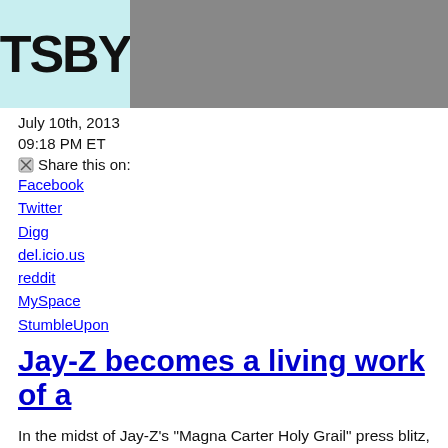[Figure (photo): Header image split into two sections: left side cyan/light blue background with bold text 'TSBY', right side shows a man in a suit (gray jacket)]
July 10th, 2013
09:18 PM ET
Share this on:
Facebook
Twitter
Digg
del.icio.us
reddit
MySpace
StumbleUpon
Jay-Z becomes a living work of a
In the midst of Jay-Z's "Magna Carter Holy Grail" press blitz, the bo art installation at New York's Pace Gallery. On Wednesday, the artist Baby," in front of an audience for six hours straight, according to Co